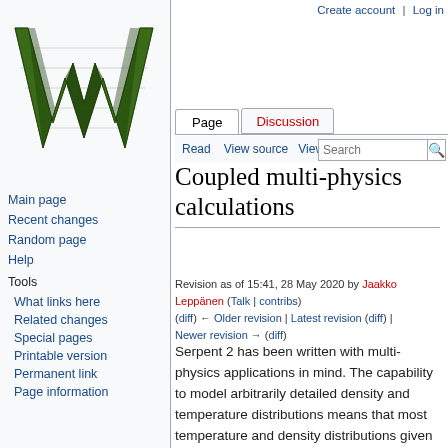Create account  Log in
[Figure (logo): Wikipedia logo - large decorative W in green and black mosaic pattern]
Page  Discussion  Read  View source  View history  Search
Coupled multi-physics calculations
Revision as of 15:41, 28 May 2020 by Jaakko Leppänen (Talk | contribs) (diff) ← Older revision | Latest revision (diff) | Newer revision → (diff)
Serpent 2 has been written with multi-physics applications in mind. The capability to model arbitrarily detailed density and temperature distributions means that most temperature and density distributions given by e.g. thermal hydraulics or CFD solvers can be brought into Serpent using one of the multi-physics interface file formats
Main page
Recent changes
Random page
Help
Tools
What links here
Related changes
Special pages
Printable version
Permanent link
Page information